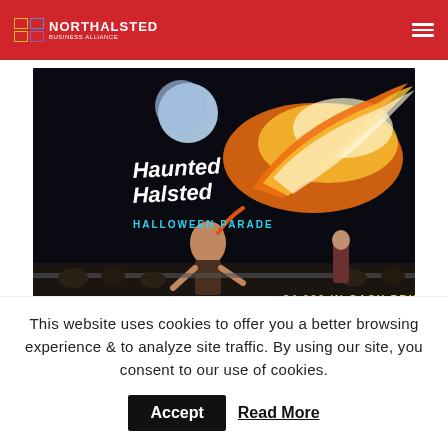NORTHALSTED BUSINESS ALLIANCE
[Figure (photo): Haunted Halsted Halloween Parade promotional image featuring a fire breather at night with a crowd watching. Text overlay reads 'Haunted Halsted Halloween Parade' with '$4,000 in Cash Prizes, Open Entry Register Now'.]
This website uses cookies to offer you a better browsing experience & to analyze site traffic. By using our site, you consent to our use of cookies.
Accept
Read More